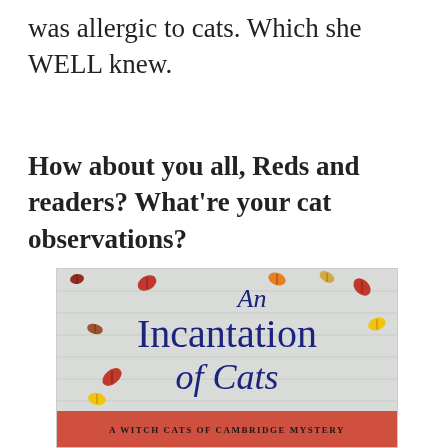was allergic to cats. Which she WELL knew.
How about you all, Reds and readers? What're your cat observations?
[Figure (illustration): Book cover of 'An Incantation of Cats: A Witch Cats of Cambridge Mystery' with autumn leaves on a gray wooden background and a red/salmon bottom banner.]